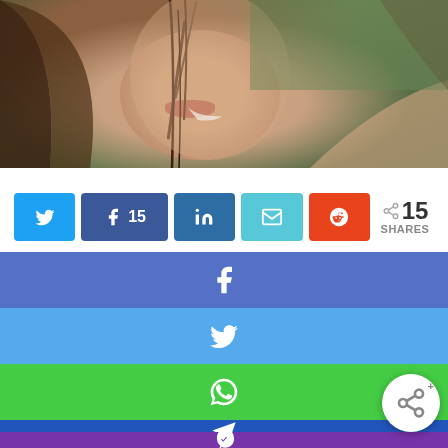[Figure (photo): Close-up photo of a woman with wet hair smiling, partially obscured by hair strand across face, with green background]
[Figure (infographic): Social media share bar with Twitter, Facebook (15), LinkedIn, Email, Reddit buttons and share count of 15 SHARES]
[Figure (infographic): Social share panel overlay with Facebook (blue-purple), Twitter (light blue), WhatsApp (green), Telegram (blue), Viber (purple) rows, and floating share button]